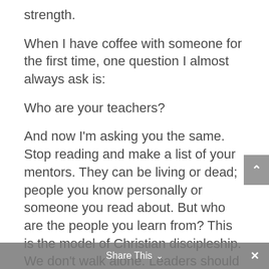strength.
When I have coffee with someone for the first time, one question I almost always ask is:
Who are your teachers?
And now I'm asking you the same. Stop reading and make a list of your mentors. They can be living or dead; people you know personally or someone you read about. But who are the people you learn from? This is the model of Christian discipleship. We don't walk alone. Leaders should not do this either. Who are your teachers? Who do you learn from? Make
Share This ∨  ×